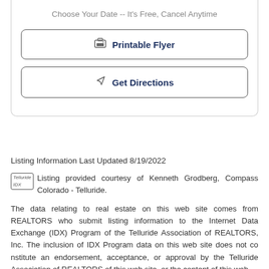Choose Your Date -- It's Free, Cancel Anytime
Printable Flyer
Get Directions
Listing Information Last Updated 8/19/2022
Listing provided courtesy of Kenneth Grodberg, Compass Colorado - Telluride.
The data relating to real estate on this web site comes from REALTORS who submit listing information to the Internet Data Exchange (IDX) Program of the Telluride Association of REALTORS, Inc. The inclusion of IDX Program data on this web site does not constitute an endorsement, acceptance, or approval by the Telluride Association of REALTORS of this web site, or the content of this web